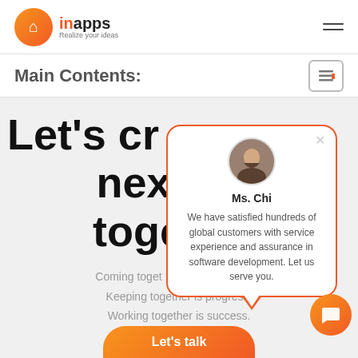[Figure (logo): InApps logo with orange circle icon and text 'inapps Realize your ideas']
Main Contents:
Let's cr next b toge
Coming toget beginning. Keeping together is progress. Working together is success.
[Figure (infographic): Chat popup with Ms. Chi avatar and message: 'We have satisfied hundreds of global customers with service experience and assurance in software development. Let us serve you.']
Let's talk